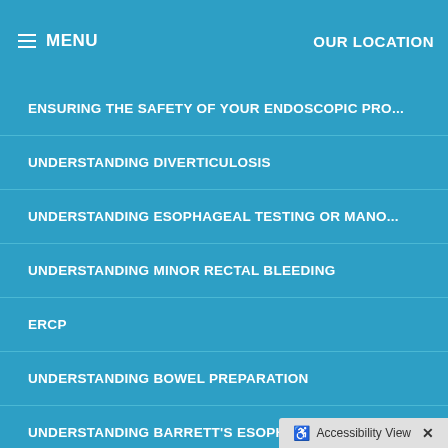MENU | OUR LOCATION
ENSURING THE SAFETY OF YOUR ENDOSCOPIC PRO...
UNDERSTANDING DIVERTICULOSIS
UNDERSTANDING ESOPHAGEAL TESTING OR MANO...
UNDERSTANDING MINOR RECTAL BLEEDING
ERCP
UNDERSTANDING BOWEL PREPARATION
UNDERSTANDING BARRETT'S ESOPHAGUS
UNDERSTANDING GASTROESOPHAGEAL REFLUX DIS...
Accessibility View ×